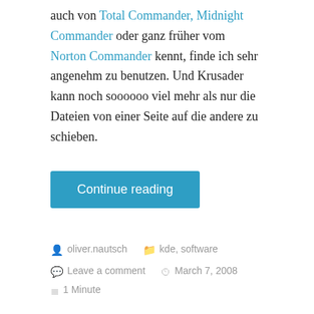auch von Total Commander, Midnight Commander oder ganz früher vom Norton Commander kennt, finde ich sehr angenehm zu benutzen. Und Krusader kann noch soooooo viel mehr als nur die Dateien von einer Seite auf die andere zu schieben.
Continue reading
oliver.nautsch   kde, software   Leave a comment   March 7, 2008   1 Minute
KDE 4.0
Heute ist es nun endlich so weit. KDE 4.0 wird